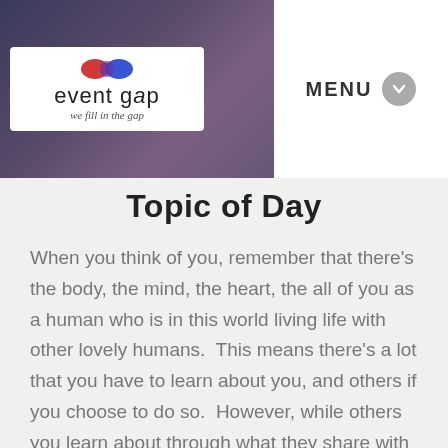[Figure (logo): Event Gap logo with red and blue infinity/figure-8 graphic and tagline 'we fill in the gap']
MENU
Topic of Day
When you think of you, remember that there's the body, the mind, the heart, the all of you as a human who is in this world living life with other lovely humans.  This means there's a lot that you have to learn about you, and others if you choose to do so.  However, while others you learn about through what they share with you about them, it is learning about you that brings you to be all that you